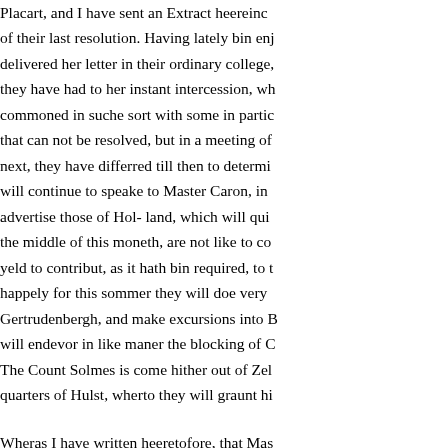Placart, and I have sent an Extract heereinc of their last resolution. Having lately bin enj delivered her letter in their ordinary college, they have had to her instant intercession, wh commoned in suche sort with some in partic that can not be resolved, but in a meeting of next, they have differred till then to determi will continue to speake to Master Caron, in advertise those of Hol- land, which will qui the middle of this moneth, are not like to co yeld to contribut, as it hath bin required, to t happely for this sommer they will doe very Gertrudenbergh, and make excursions into B will endevor in like maner the blocking of C The Count Solmes is come hither out of Zel quarters of Hulst, wherto they will graunt hi Wheras I have written heeretofore, that Mas